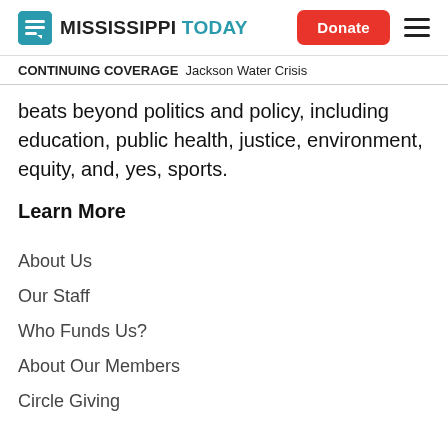Mississippi Today | Donate
CONTINUING COVERAGE  Jackson Water Crisis
beats beyond politics and policy, including education, public health, justice, environment, equity, and, yes, sports.
Learn More
About Us
Our Staff
Who Funds Us?
About Our Members
Circle Giving